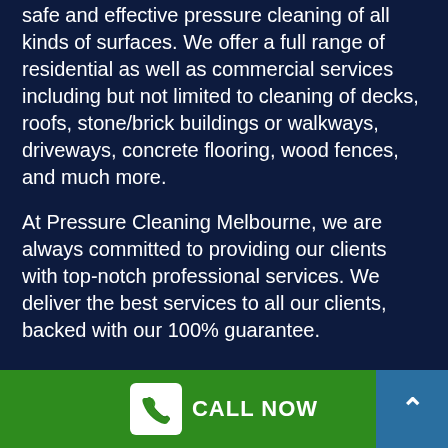safe and effective pressure cleaning of all kinds of surfaces. We offer a full range of residential as well as commercial services including but not limited to cleaning of decks, roofs, stone/brick buildings or walkways, driveways, concrete flooring, wood fences, and much more.
At Pressure Cleaning Melbourne, we are always committed to providing our clients with top-notch professional services. We deliver the best services to all our clients, backed with our 100% guarantee.
CONTACT INFORMATION
Address:
CALL NOW